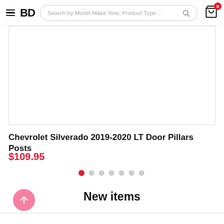BD — Search by Model Make Year, Product Type... (search bar) — Cart (0)
[Figure (photo): Product image area for Chevrolet Silverado 2019-2020 LT Door Pillars Posts — white/blank image placeholder with border]
Chevrolet Silverado 2019-2020 LT Door Pillars Posts
$109.95
[Figure (infographic): Carousel indicator dots — 8 dots, first one red/active, rest grey]
New items
[Figure (other): Pink circular back-to-top button with upward arrow icon]
Bottom card strip — partial product card border